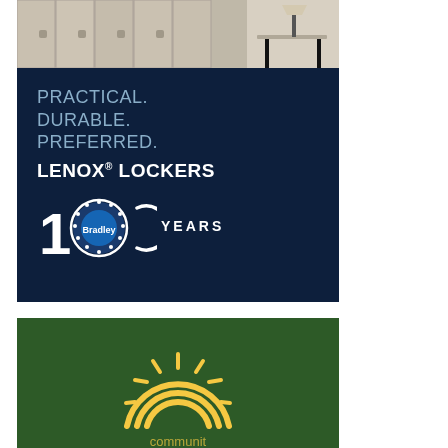[Figure (photo): Photo of beige metal lockers with a lamp/table in the foreground]
[Figure (infographic): Dark navy blue advertisement panel with text: PRACTICAL. DURABLE. PREFERRED. LENOX LOCKERS. Bradley 100 YEARS logo.]
[Figure (logo): Green background with a yellow sun/rainbow arc logo, partially visible text below (communities or similar)]